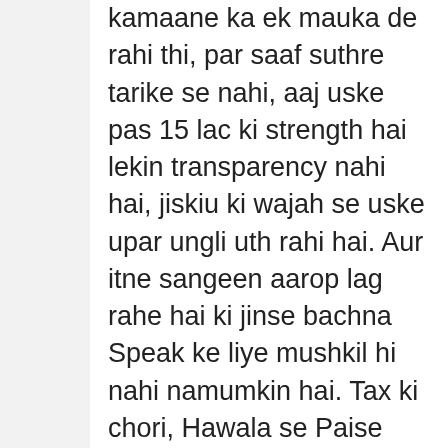kamaane ka ek mauka de rahi thi, par saaf suthre tarike se nahi, aaj uske pas 15 lac ki strength hai lekin transparency nahi hai, jiskiu ki wajah se uske upar ungli uth rahi hai. Aur itne sangeen aarop lag rahe hai ki jinse bachna Speak ke liye mushkil hi nahi namumkin hai. Tax ki chori, Hawala se Paise dena, etc. 15lakh * 4000 = 600 crore har mahine survey income logon ko de rahi hai aur ye badh raha hai din ba din itna paisa